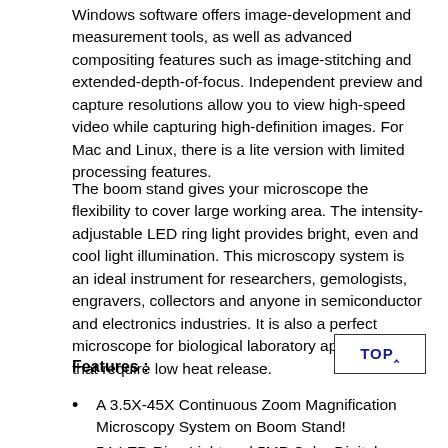Windows software offers image-development and measurement tools, as well as advanced compositing features such as image-stitching and extended-depth-of-focus. Independent preview and capture resolutions allow you to view high-speed video while capturing high-definition images. For Mac and Linux, there is a lite version with limited processing features.
The boom stand gives your microscope the flexibility to cover large working area. The intensity-adjustable LED ring light provides bright, even and cool light illumination. This microscopy system is an ideal instrument for researchers, gemologists, engravers, collectors and anyone in semiconductor and electronics industries. It is also a perfect microscope for biological laboratory applications that require low heat release.
Features :
A 3.5X-45X Continuous Zoom Magnification Microscopy System on Boom Stand!
54-LED Ring Light and 5MP Color Digital